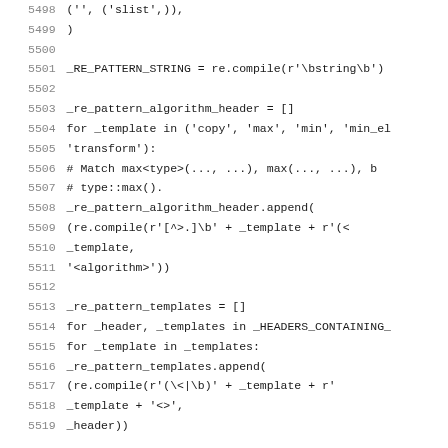Code listing lines 5498-5519 showing Python source code for pattern compilation